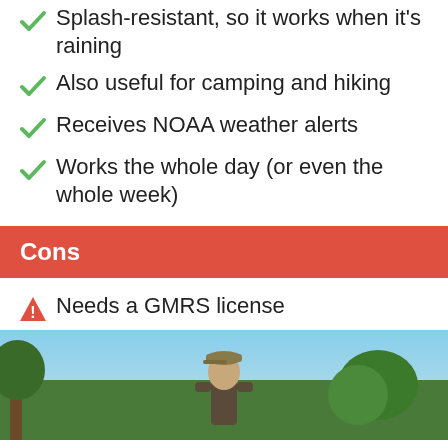Splash-resistant, so it works when it's raining
Also useful for camping and hiking
Receives NOAA weather alerts
Works the whole day (or even the whole week)
Cons
Needs a GMRS license
May be overkill for small battlefields
[Figure (photo): Person wearing a cap outdoors with trees and greenery in the background]